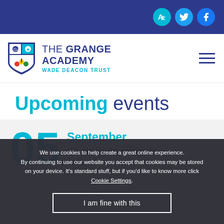[Figure (logo): The Grange Academy logo with shield emblem and text: THE GRANGE ACADEMY WADE DEACON TRUST]
Upcoming events
05 September All students return to school
We use cookies to help create a great online experience. By continuing to use our website you accept that cookies may be stored on your device. It's standard stuff, but if you'd like to know more click Cookie Settings.
I am fine with this